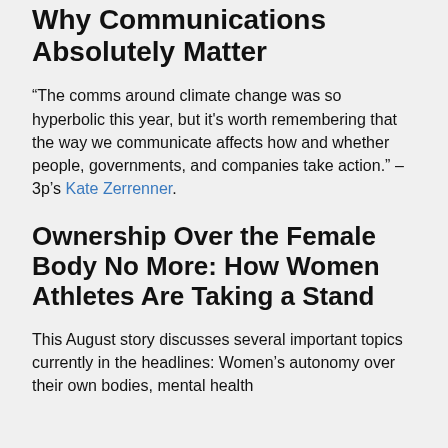Why Communications Absolutely Matter
“The comms around climate change was so hyperbolic this year, but it's worth remembering that the way we communicate affects how and whether people, governments, and companies take action.” – 3p’s Kate Zerrenner.
Ownership Over the Female Body No More: How Women Athletes Are Taking a Stand
This August story discusses several important topics currently in the headlines: Women’s autonomy over their own bodies, mental health